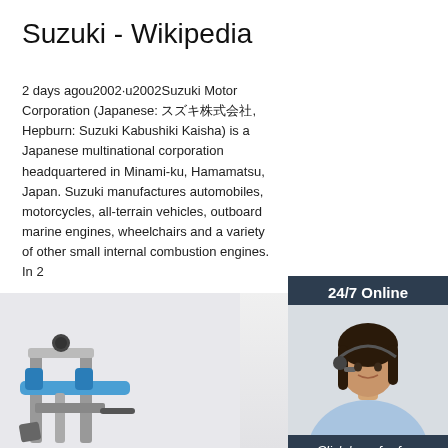Suzuki - Wikipedia
2 days agou2002·u2002Suzuki Motor Corporation (Japanese: スズキ株式会社, Hepburn: Suzuki Kabushiki Kaisha) is a Japanese multinational corporation headquartered in Minami-ku, Hamamatsu, Japan. Suzuki manufactures automobiles, motorcycles, all-terrain vehicles, outboard marine engines, wheelchairs and a variety of other small internal combustion engines. In 2...
...
[Figure (screenshot): Orange 'Get Price' button]
[Figure (infographic): 24/7 Online chat widget with woman wearing headset and 'Click here for free chat!' and QUOTATION button]
[Figure (photo): Bottom section showing mechanical/industrial equipment on left and TOP logo on right]